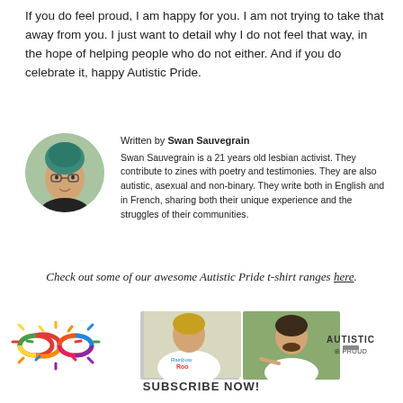If you do feel proud, I am happy for you. I am not trying to take that away from you. I just want to detail why I do not feel that way, in the hope of helping people who do not either. And if you do celebrate it, happy Autistic Pride.
Written by Swan Sauvegrain
Swan Sauvegrain is a 21 years old lesbian activist. They contribute to zines with poetry and testimonies. They are also autistic, asexual and non-binary. They write both in English and in French, sharing both their unique experience and the struggles of their communities.
[Figure (photo): Circular profile photo of Swan Sauvegrain with green hair]
Check out some of our awesome Autistic Pride t-shirt ranges here.
[Figure (infographic): Row of images: rainbow infinity symbol, two people wearing Autistic Pride t-shirts, Autistic and Proud logo text]
SUBSCRIBE NOW!